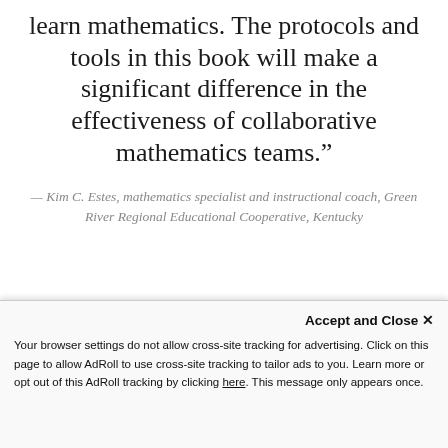learn mathematics. The protocols and tools in this book will make a significant difference in the effectiveness of collaborative mathematics teams.”
— Kim C. Estes, mathematics specialist and instructional coach, Green River Regional Educational Cooperative, Kentucky
Accept and Close ×
Your browser settings do not allow cross-site tracking for advertising. Click on this page to allow AdRoll to use cross-site tracking to tailor ads to you. Learn more or opt out of this AdRoll tracking by clicking here. This message only appears once.